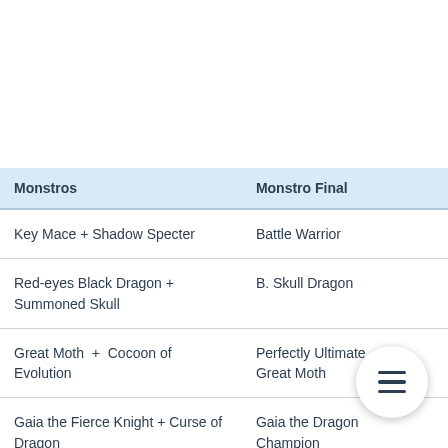| Monstros | Monstro Final |
| --- | --- |
| Key Mace + Shadow Specter | Battle Warrior |
| Red-eyes Black Dragon + Summoned Skull | B. Skull Dragon |
| Great Moth  +  Cocoon of Evolution | Perfectly Ultimate Great Moth |
| Gaia the Fierce Knight + Curse of Dragon | Gaia the Dragon Champion |